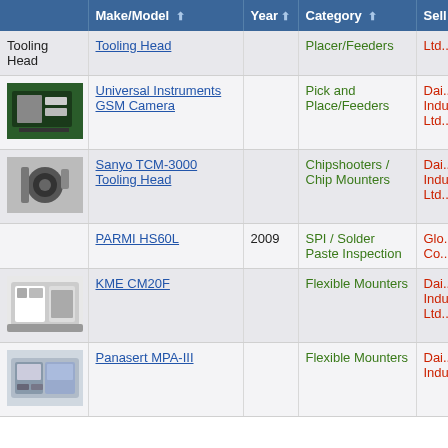|  | Make/Model | Year | Category | Sel... |
| --- | --- | --- | --- | --- |
| Tooling Head | Tooling Head |  | Placer/Feeders (partial) | Ltd.... |
| [image] | Universal Instruments GSM Camera |  | Pick and Place/Feeders | Dai... Indu... Ltd.... |
| [image] | Sanyo TCM-3000 Tooling Head |  | Chipshooters / Chip Mounters | Dai... Indu... Ltd.... |
|  | PARMI HS60L | 2009 | SPI / Solder Paste Inspection | Glo... Co.... |
| [image] | KME CM20F |  | Flexible Mounters | Dai... Indu... Ltd.... |
| [image] | Panasert MPA-III |  | Flexible Mounters | Dai... Indu... |